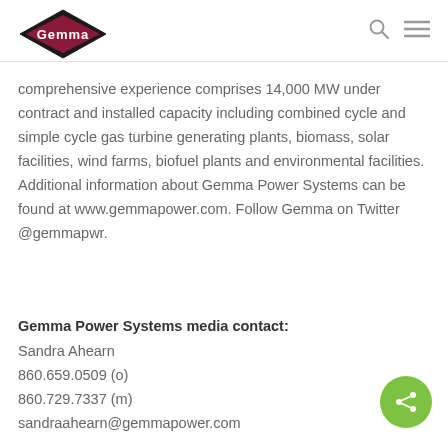[Figure (logo): Gemma Power Systems diamond logo with 'Gemma' text in white on dark red/maroon diamond shape with black border]
comprehensive experience comprises 14,000 MW under contract and installed capacity including combined cycle and simple cycle gas turbine generating plants, biomass, solar facilities, wind farms, biofuel plants and environmental facilities. Additional information about Gemma Power Systems can be found at www.gemmapower.com. Follow Gemma on Twitter @gemmapwr.
Gemma Power Systems media contact:
Sandra Ahearn
860.659.0509 (o)
860.729.7337 (m)
sandraahearn@gemmapower.com